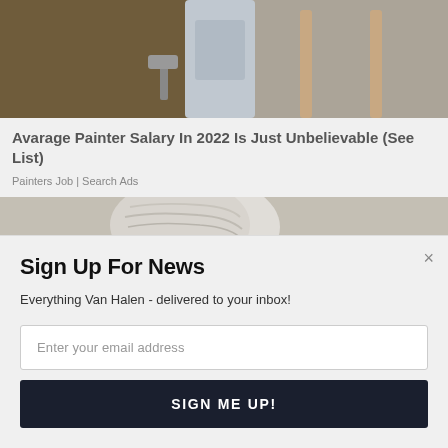[Figure (photo): Photo of a painter in white clothes painting a wall, viewed from behind/side]
Avarage Painter Salary In 2022 Is Just Unbelievable (See List)
Painters Job | Search Ads
[Figure (photo): Photo of an elderly person with white/grey hair lying down, with a 'Powered by SUMO' badge overlaid]
Sign Up For News
Everything Van Halen - delivered to your inbox!
Enter your email address
SIGN ME UP!